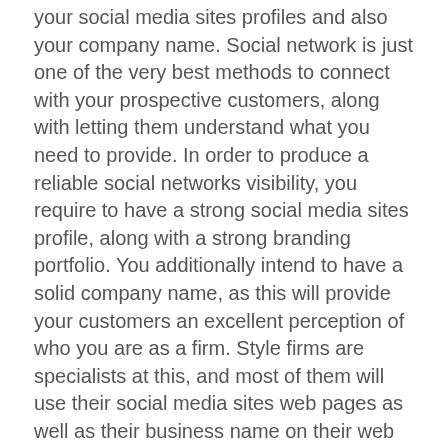your social media sites profiles and also your company name. Social network is just one of the very best methods to connect with your prospective customers, along with letting them understand what you need to provide. In order to produce a reliable social networks visibility, you require to have a strong social media sites profile, along with a strong branding portfolio. You additionally intend to have a solid company name, as this will provide your customers an excellent perception of who you are as a firm. Style firms are specialists at this, and most of them will use their social media sites web pages as well as their business name on their web design. The tail end of the branding as well as website design process will certainly concentrate on material. Not just will you wish to focus on the material of your brand, however you will certainly additionally intend to put in the time to focus on the pictures that you have chosen as well. Your shades and typefaces need to move naturally with the remainder of the details that you present on your web page. A great deal of times, interior developers and also brand name professionals will certainly obtain captured up in the creative procedure, as well as they